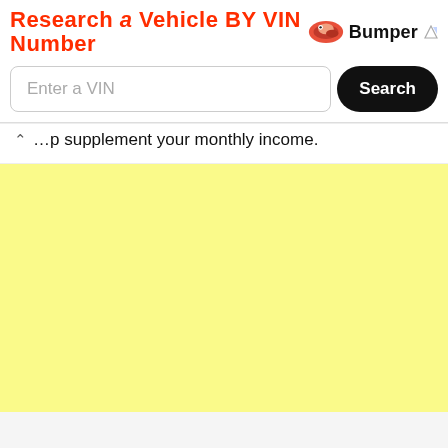[Figure (screenshot): Bumper VIN lookup advertisement banner with bold red title 'Research a Vehicle BY VIN Number', Bumper logo, a VIN input field, and a Search button]
…p supplement your monthly income.
[Figure (other): Large yellow/pale yellow blank area filling the bottom portion of the page]